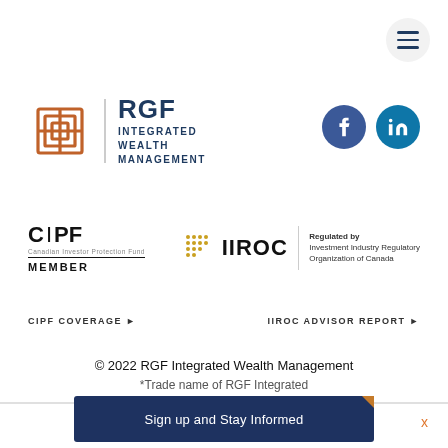[Figure (logo): Hamburger menu button, circular grey background with three horizontal dark blue lines]
[Figure (logo): RGF Integrated Wealth Management logo: orange geometric icon, vertical divider, bold dark blue RGF text with INTEGRATED WEALTH MANAGEMENT tagline]
[Figure (logo): Facebook and LinkedIn social icons: blue circles with f and in symbols]
[Figure (logo): CIPF Member logo: black text CIPF with small subtext, MEMBER label under horizontal line]
[Figure (logo): IIROC logo: gold dot grid pattern, IIROC bold text, vertical divider, Regulated by Investment Industry Regulatory Organization of Canada text]
CIPF COVERAGE ▶
IIROC ADVISOR REPORT ▶
© 2022 RGF Integrated Wealth Management
*Trade name of RGF Integrated
[Figure (screenshot): Sign up and Stay Informed CTA banner in dark navy blue with white text and orange corner accent, with X close button]